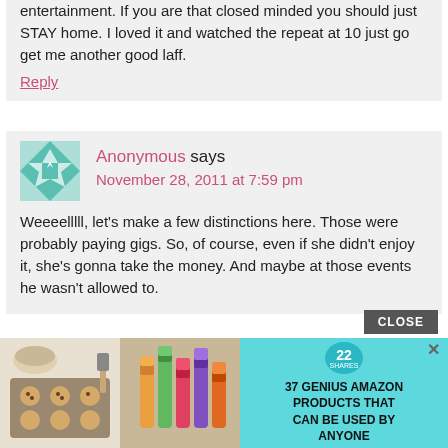entertainment. If you are that closed minded you should just STAY home. I loved it and watched the repeat at 10 just go get me another good laff.
Reply
Anonymous says
November 28, 2011 at 7:59 pm
Weeeelllll, let's make a few distinctions here. Those were probably paying gigs. So, of course, even if she didn't enjoy it, she's gonna take the money. And maybe at those events he wasn't allowed to.
[Figure (infographic): Advertisement overlay showing '37 Genius Amazon Products That Can Be Used By Anyone' with teal background, food/cosmetics images, and a CLOSE button]